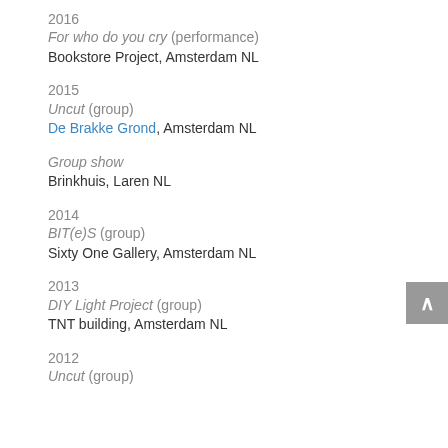2016
For who do you cry (performance)
Bookstore Project, Amsterdam NL
2015
Uncut (group)
De Brakke Grond, Amsterdam NL
Group show
Brinkhuis, Laren NL
2014
BIT(e)S (group)
Sixty One Gallery, Amsterdam NL
2013
DIY Light Project (group)
TNT building, Amsterdam NL
2012
Uncut (group)